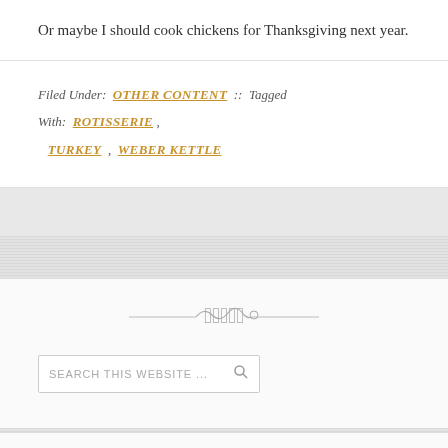Or maybe I should cook chickens for Thanksgiving next year.
Filed Under: OTHER CONTENT :: Tagged With: ROTISSERIE , TURKEY , WEBER KETTLE
[Figure (illustration): Decorative script/ornamental divider with cursive flourish design]
SEARCH THIS WEBSITE ...